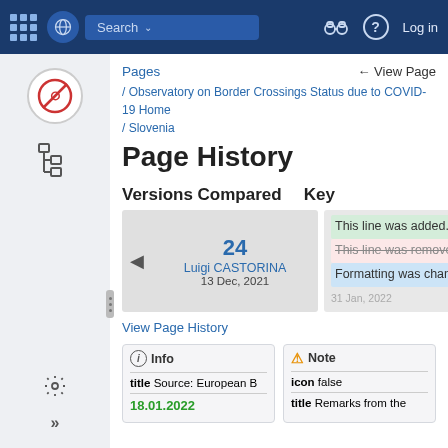Search | Log in
Pages   ← View Page
/ Observatory on Border Crossings Status due to COVID-19 Home / Slovenia
Page History
Versions Compared   Key
24 Luigi CASTORINA 13 Dec, 2021
This line was added. This line was removed. Formatting was changed.
View Page History
| Info | Note |
| --- | --- |
| title Source: European ... | icon false |
| 18.01.2022 | title Remarks from the |
ⓘ Info
⚠ Note
title Source: European  B
icon false
18.01.2022
title Remarks from the